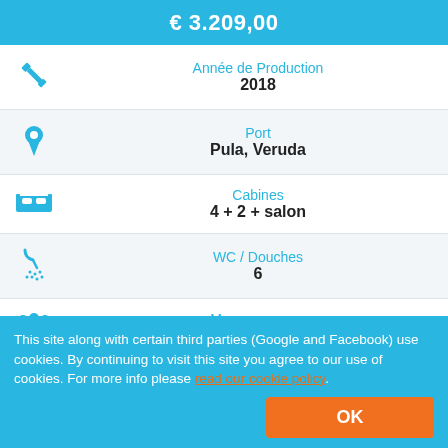€ 3.209,00
| Icon | Label | Value |
| --- | --- | --- |
| wrench | Année de Production | 2018 |
| pin | Port | Pula, Veruda |
| bed | Cabines | 4 + 2 + salon |
| shower | WC / Douches | 6 |
| people | Max personnes | 8 + 2 + 2 |
| snowflake | Climatisier | Non |
This site along with certain third parties (Google and Facebook) use cookies. By continuing to visit this site you agree to our use of cookies. For more info please read our cookie policy.